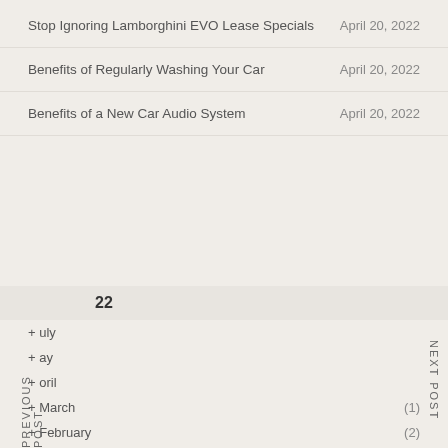Stop Ignoring Lamborghini EVO Lease Specials	April 20, 2022
Benefits of Regularly Washing Your Car	April 20, 2022
Benefits of a New Car Audio System	April 20, 2022
PREVIOUS POST
NEXT POST
22
+ uly
+ ay
+ oril
+ March	(1)
+ February	(2)
+ January	(1)
2021
2020